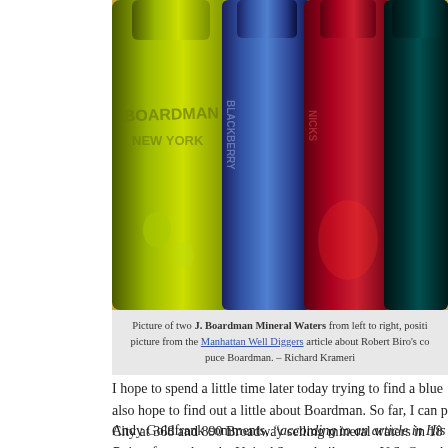[Figure (photo): Photograph of several antique mineral water bottles standing in a row against a warm golden background. Bottles are of different colors: olive green (labelled BOARDMAN NEW YORK), cobalt blue (BLACKBERRY), dark red/puce, and dark teal. Embossed text visible on each bottle.]
Picture of two J. Boardman Mineral Waters from left to right, positi picture from the Manhattan Well Diggers article about Robert Biro's co puce Boardman. – Richard Krameri
I hope to spend a little time later today trying to find a blue also hope to find out a little about Boardman. So far, I can p City at 368 and 890 Broadway selling mineral waters in 18
Andy Goldfrank comments, "according to an article in His Points from when the United States built a new U.S. Courth